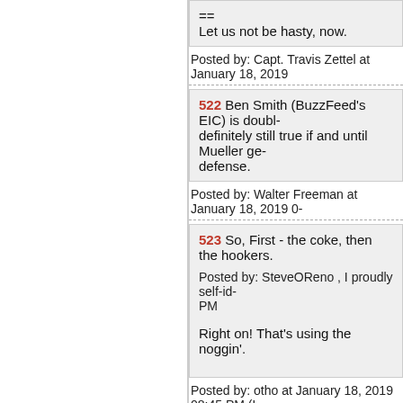==

Let us not be hasty, now.
Posted by: Capt. Travis Zettel at January 18, 2019
522 Ben Smith (BuzzFeed's EIC) is doubl... definitely still true if and until Mueller ge... defense.
Posted by: Walter Freeman at January 18, 2019 0...
523 So, First - the coke, then the hookers.

Posted by: SteveOReno , I proudly self-id... PM

Right on! That's using the noggin'.
Posted by: otho at January 18, 2019 08:45 PM (L...
524 >>What a week it was...